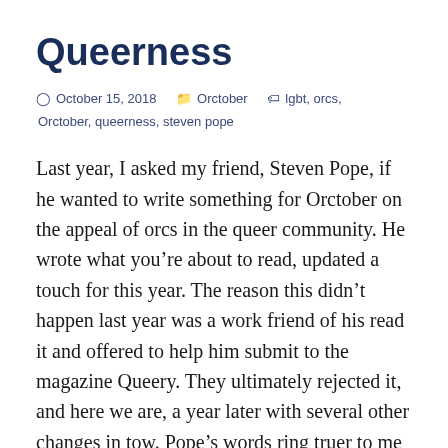Queerness
October 15, 2018   Orctober   lgbt, orcs, Orctober, queerness, steven pope
Last year, I asked my friend, Steven Pope, if he wanted to write something for Orctober on the appeal of orcs in the queer community. He wrote what you're about to read, updated a touch for this year. The reason this didn't happen last year was a work friend of his read it and offered to help him submit to the magazine Queery. They ultimately rejected it, and here we are, a year later with several other changes in tow. Pope's words ring truer to me now after figuring out I was bi. Especially considering he